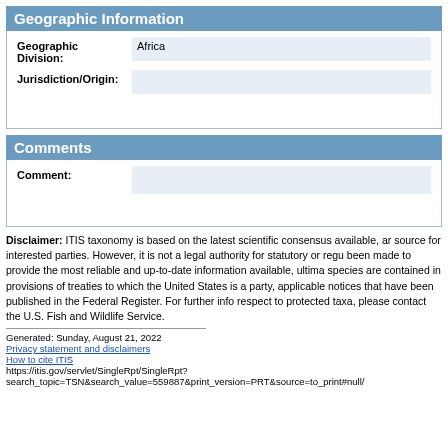Geographic Information
| Geographic Division: | Africa |
| Jurisdiction/Origin: |  |
Comments
| Comment: |  |
Disclaimer: ITIS taxonomy is based on the latest scientific consensus available, and is provided as a public service from a government source for interested parties. However, it is not a legal authority for statutory or regulatory purposes. While every effort has been made to provide the most reliable and up-to-date information available, ultimate legal requirements with respect to species are contained in provisions of treaties to which the United States is a party, wildlife statutes, regulations, and applicable notices that have been published in the Federal Register. For further information on U.S. legal requirements with respect to protected taxa, please contact the U.S. Fish and Wildlife Service.
Generated: Sunday, August 21, 2022
Privacy statement and disclaimers
How to cite ITIS
https://itis.gov/servlet/SingleRpt/SingleRpt?search_topic=TSN&search_value=559887&print_version=PRT&source=to_print#null/